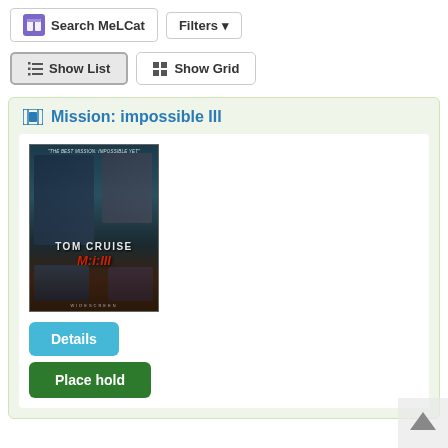[Figure (screenshot): MeLCat logo icon — purple book icon]
Search MeLCat
Filters ▾
≡ Show List
⊞ Show Grid
Mission: impossible III
[Figure (photo): DVD cover art for Mission: Impossible III featuring Tom Cruise]
Details
Place hold